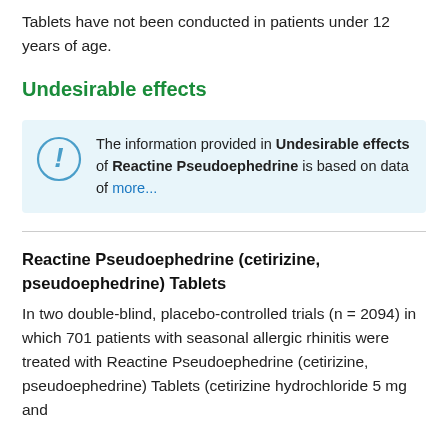Tablets have not been conducted in patients under 12 years of age.
Undesirable effects
The information provided in Undesirable effects of Reactine Pseudoephedrine is based on data of more...
Reactine Pseudoephedrine (cetirizine, pseudoephedrine) Tablets
In two double-blind, placebo-controlled trials (n = 2094) in which 701 patients with seasonal allergic rhinitis were treated with Reactine Pseudoephedrine (cetirizine, pseudoephedrine) Tablets (cetirizine hydrochloride 5 mg and